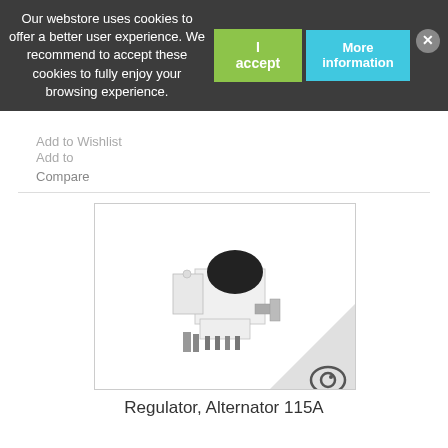Our webstore uses cookies to offer a better user experience. We recommend to accept these cookies to fully enjoy your browsing experience.
I accept
More information
Add to Wishlist
Add to
Compare
[Figure (photo): Product photo of a Regulator, Alternator 115A component — white and black electronic/mechanical part with metal contacts and connectors, with a watermark logo in the bottom-right corner]
Regulator, Alternator 115A